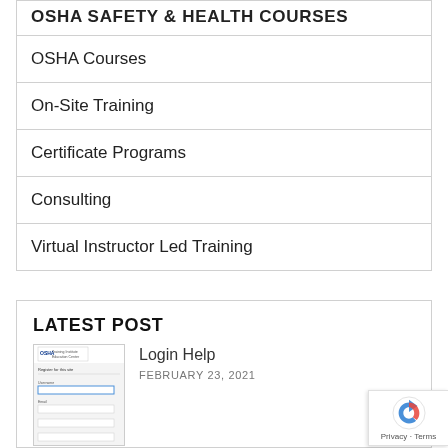OSHA SAFETY & HEALTH COURSES
OSHA Courses
On-Site Training
Certificate Programs
Consulting
Virtual Instructor Led Training
LATEST POST
Login Help
FEBRUARY 23, 2021
[Figure (screenshot): Screenshot of OSHA Training Institute Education Center login/register page]